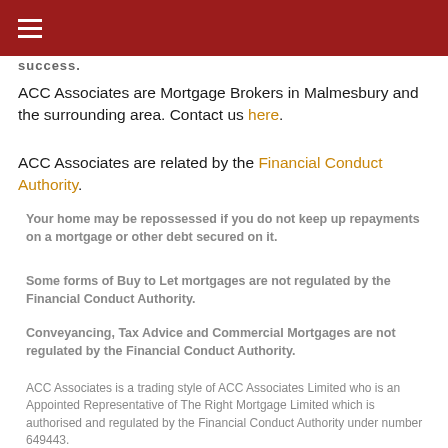≡ (hamburger menu)
success.
ACC Associates are Mortgage Brokers in Malmesbury and the surrounding area. Contact us here.
ACC Associates are related by the Financial Conduct Authority.
Your home may be repossessed if you do not keep up repayments on a mortgage or other debt secured on it.
Some forms of Buy to Let mortgages are not regulated by the Financial Conduct Authority.
Conveyancing, Tax Advice and Commercial Mortgages are not regulated by the Financial Conduct Authority.
ACC Associates is a trading style of ACC Associates Limited who is an Appointed Representative of The Right Mortgage Limited which is authorised and regulated by the Financial Conduct Authority under number 649443.